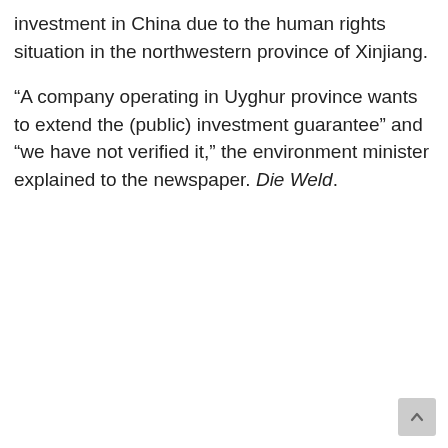investment in China due to the human rights situation in the northwestern province of Xinjiang.
“A company operating in Uyghur province wants to extend the (public) investment guarantee” and “we have not verified it,” the environment minister explained to the newspaper. Die Weld.